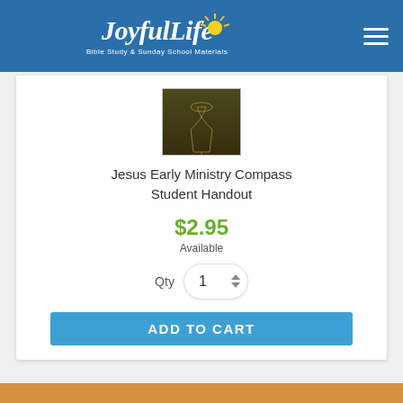JoyfulLife Bible Study & Sunday School Materials
[Figure (photo): Book cover of Jesus Early Ministry Compass Student Handout, dark olive/brown cover with a wine glass silhouette and cursive title text]
Jesus Early Ministry Compass Student Handout
$2.95
Available
Qty 1
ADD TO CART